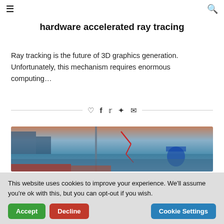☰  🔍
hardware accelerated ray tracing
Ray tracking is the future of 3D graphics generation. Unfortunately, this mechanism requires enormous computing…
[Figure (screenshot): Social sharing icons: heart, facebook, twitter, pinterest, email]
[Figure (photo): Game screenshot showing ray tracing with a sci-fi scene, blue lighting, and red traced ray lines]
This website uses cookies to improve your experience. We'll assume you're ok with this, but you can opt-out if you wish.
Accept  Decline  Cookie Settings